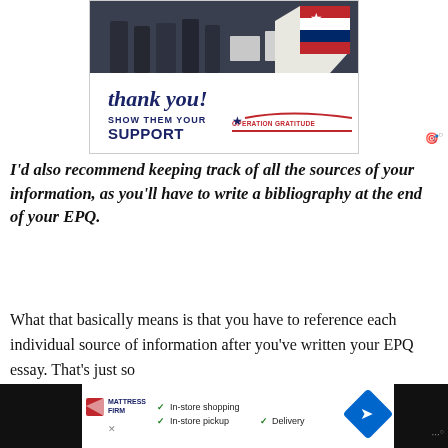[Figure (photo): Advertisement image showing firefighters/first responders with 'Thank you! SHOW THEM YOUR SUPPORT – OPERATION GRATITUDE' text and a patriotic pencil graphic]
I'd also recommend keeping track of all the sources of your information, as you'll have to write a bibliography at the end of your EPQ.
What that basically means is that you have to reference each individual source of information after you've written your EPQ essay. That's just so
[Figure (other): Bottom advertisement banner: Mattress Firm with In-store shopping, In-store pickup, Delivery options]